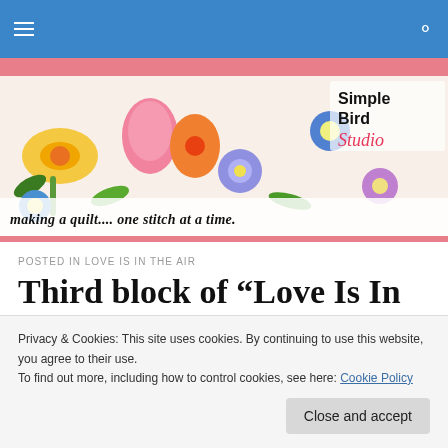Navigation bar with hamburger menu and search icon
[Figure (illustration): Simple Bird Studio website banner with colorful flowers (daffodils, blue flowers, pink tulips) and text 'making a quilt.... one stitch at a time.' with brand logo 'Simple Bird Studio' in top right]
POSTED IN LOVE IS IN THE AIR
Third block of “Love Is In the
Privacy & Cookies: This site uses cookies. By continuing to use this website, you agree to their use.
To find out more, including how to control cookies, see here: Cookie Policy
Close and accept